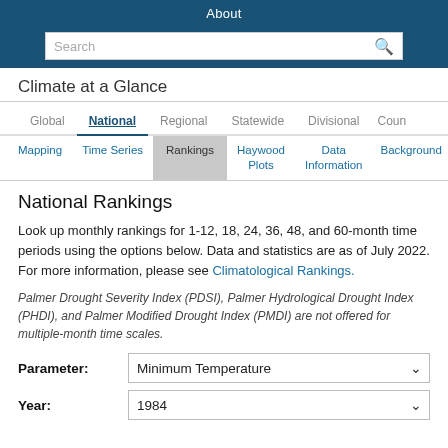About
Climate at a Glance
National Rankings
Look up monthly rankings for 1-12, 18, 24, 36, 48, and 60-month time periods using the options below. Data and statistics are as of July 2022. For more information, please see Climatological Rankings.
Palmer Drought Severity Index (PDSI), Palmer Hydrological Drought Index (PHDI), and Palmer Modified Drought Index (PMDI) are not offered for multiple-month time scales.
Parameter: Minimum Temperature
Year: 1984